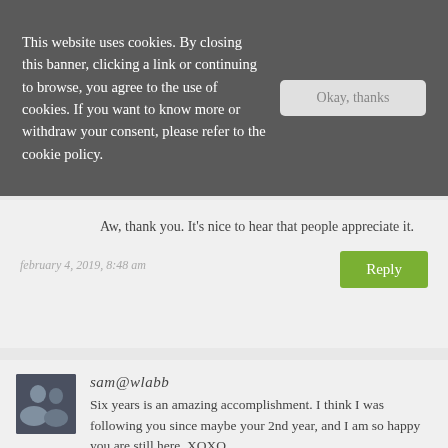This website uses cookies. By closing this banner, clicking a link or continuing to browse, you agree to the use of cookies. If you want to know more or withdraw your consent, please refer to the cookie policy.
Okay, thanks
Aw, thank you. It's nice to hear that people appreciate it.
february 4, 2019, 8:48 am
Reply
sam@wlabb
Six years is an amazing accomplishment. I think I was following you since maybe your 2nd year, and I am so happy you are still here. XOXO